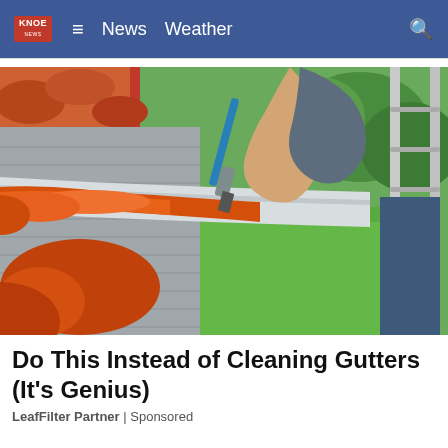KNOE News  ☰  News  Weather  🔍
[Figure (photo): Person painting or cleaning a home gutter with a brush, viewed from above on a ladder. Orange residue visible in the aluminum gutter channel, with green grass lawn visible in background and orange roof tiles visible at top left.]
Do This Instead of Cleaning Gutters (It's Genius)
LeafFilter Partner | Sponsored